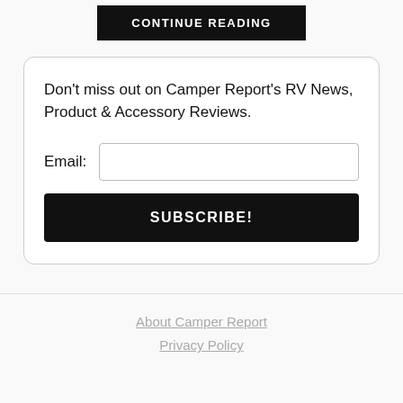CONTINUE READING
Don't miss out on Camper Report's RV News, Product & Accessory Reviews.
Email:
SUBSCRIBE!
About Camper Report
Privacy Policy